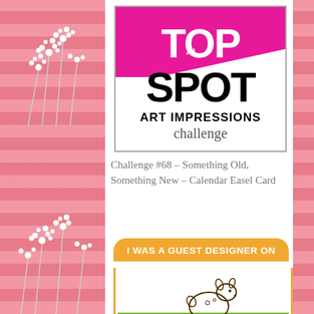[Figure (logo): Art Impressions TOP SPOT Challenge badge logo with pink/magenta diagonal background, white bold text 'TOP SPOT' and sub-text 'ART IMPRESSIONS challenge']
Challenge #68 – Something Old, Something New – Calendar Easel Card
[Figure (illustration): Orange rounded rectangle badge with white bold text 'I WAS A GUEST DESIGNER ON' above a white card area showing a cute outline deer fawn illustration with green grass strip at the bottom]